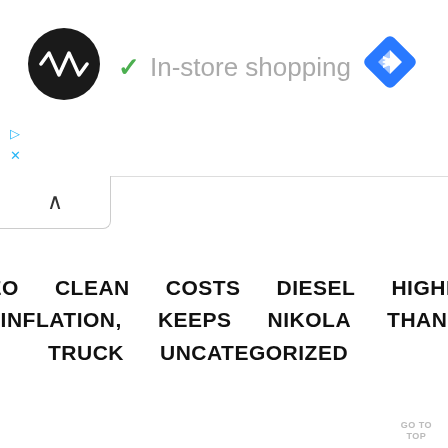[Figure (screenshot): Top bar with circular logo, green checkmark with 'In-store shopping' text, and blue diamond navigation icon]
In-store shopping
[Figure (screenshot): Collapse/minimize button with upward caret]
CEO CLEAN COSTS DIESEL HIGHER INFLATION, KEEPS NIKOLA THAN TRUCK UNCATEGORIZED